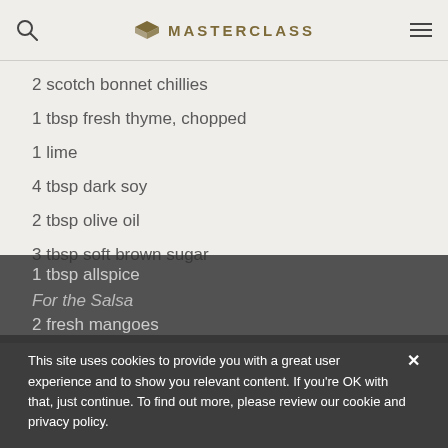MASTERCLASS
2 scotch bonnet chillies
1 tbsp fresh thyme, chopped
1 lime
4 tbsp dark soy
2 tbsp olive oil
3 tbsp soft brown sugar
1 tbsp allspice
For the Salsa
2 fresh mangoes
This site uses cookies to provide you with a great user experience and to show you relevant content. If you're OK with that, just continue. To find out more, please review our cookie and privacy policy.